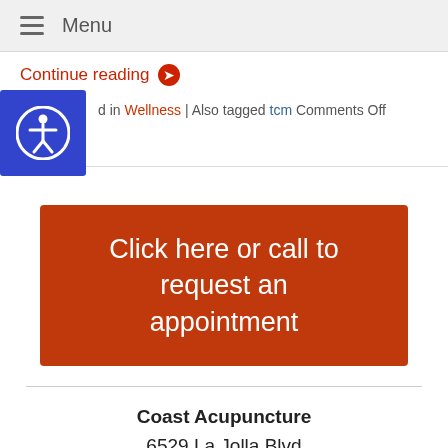☰ Menu
Continue reading ➡
Posted in Wellness | Also tagged tcm Comments Off
[Figure (illustration): Blue accessibility icon — person in circle on blue square background]
Click here or call to request an appointment
Coast Acupuncture
6529 La Jolla Blvd
La Jolla, CA 92037